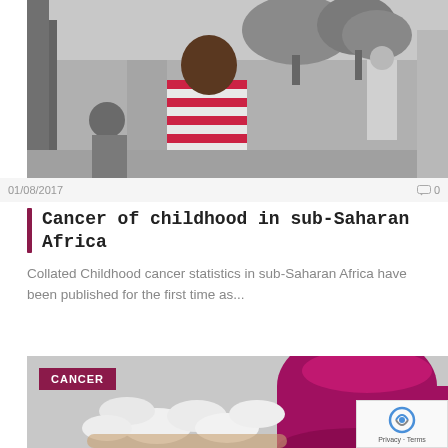[Figure (photo): Black and white photo of a young child in a striped shirt in a crowd outdoors in sub-Saharan Africa]
01/08/2017
💬 0
Cancer of childhood in sub-Saharan Africa
Collated Childhood cancer statistics in sub-Saharan Africa have been published for the first time as...
[Figure (photo): Photo of white pills/tablets spilling from a pink/magenta medication bottle, with a CANCER category badge overlay]